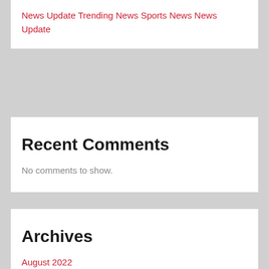News Update Trending News Sports News News Update
Recent Comments
No comments to show.
Archives
August 2022
July 2022